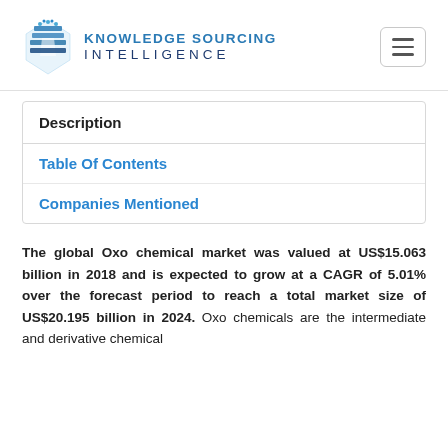[Figure (logo): Knowledge Sourcing Intelligence logo with blue geometric icon and company name]
Description
Table Of Contents
Companies Mentioned
The global Oxo chemical market was valued at US$15.063 billion in 2018 and is expected to grow at a CAGR of 5.01% over the forecast period to reach a total market size of US$20.195 billion in 2024. Oxo chemicals are the intermediate and derivative chemical